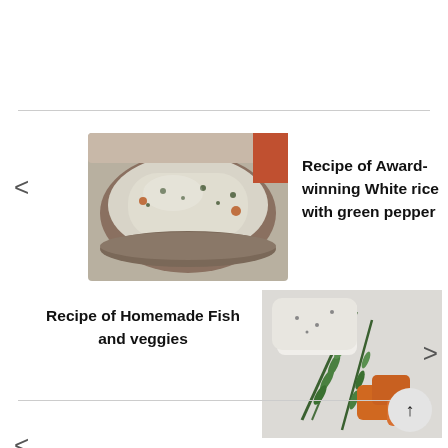[Figure (photo): A bowl of white rice with green pepper from above]
Recipe of Award-winning White rice with green pepper
[Figure (photo): Fish and vegetables including rosemary sprigs and orange-colored veggie pieces on a white surface]
Recipe of Homemade Fish and veggies